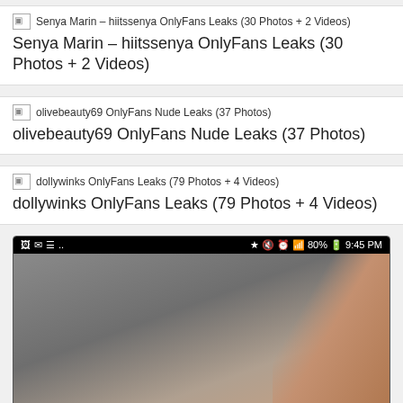Senya Marin – hiitssenya OnlyFans Leaks (30 Photos + 2 Videos)
olivebeauty69 OnlyFans Nude Leaks (37 Photos)
dollywinks OnlyFans Leaks (79 Photos + 4 Videos)
[Figure (screenshot): Mobile phone screenshot showing status bar with Bluetooth, volume, alarm, WiFi, signal icons, 80% battery, 9:45 PM, and a blurred image below]